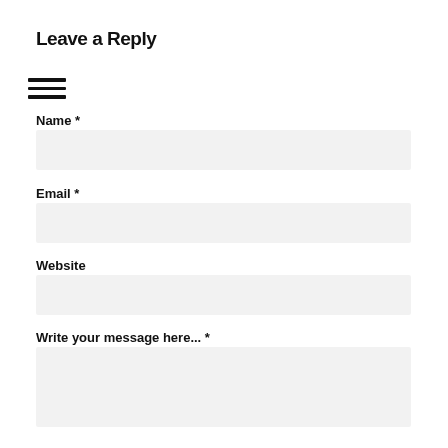Leave a Reply
[Figure (other): Hamburger menu icon with three horizontal lines]
Name *
Email *
Website
Write your message here... *